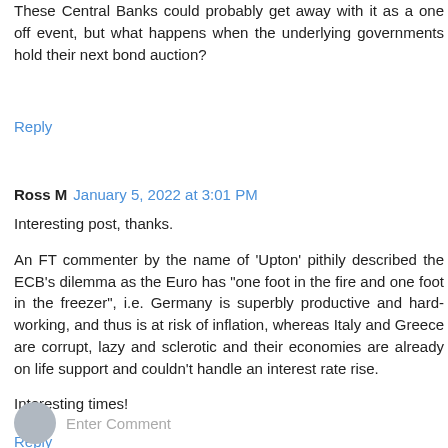These Central Banks could probably get away with it as a one off event, but what happens when the underlying governments hold their next bond auction?
Reply
Ross M  January 5, 2022 at 3:01 PM
Interesting post, thanks.
An FT commenter by the name of 'Upton' pithily described the ECB's dilemma as the Euro has "one foot in the fire and one foot in the freezer", i.e. Germany is superbly productive and hard-working, and thus is at risk of inflation, whereas Italy and Greece are corrupt, lazy and sclerotic and their economies are already on life support and couldn't handle an interest rate rise.
Interesting times!
Reply
Enter Comment